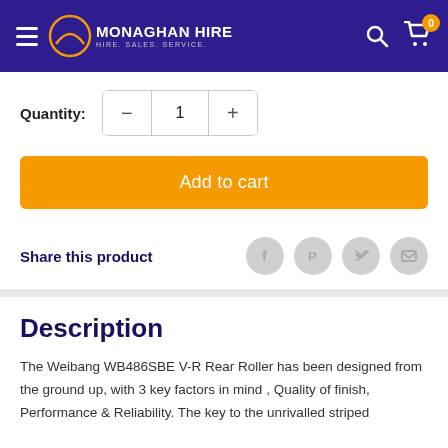MONAGHAN HIRE — HIRE. SALES. SERVICE.
Quantity: 1
Add to cart
Share this product
Description
The Weibang WB486SBE V-R Rear Roller has been designed from the ground up, with 3 key factors in mind , Quality of finish, Performance & Reliability. The key to the unrivalled striped